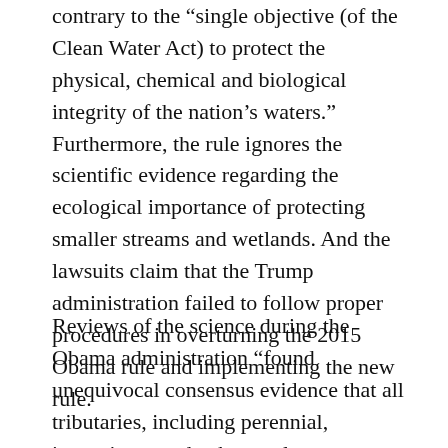contrary to the “single objective (of the Clean Water Act) to protect the physical, chemical and biological integrity of the nation’s waters.” Furthermore, the rule ignores the scientific evidence regarding the ecological importance of protecting smaller streams and wetlands. And the lawsuits claim that the Trump administration failed to follow proper procedures in overturning the 2015 Obama rule and implementing the new rule.
Reviews of the science during the Obama administration “found unequivocal consensus evidence that all tributaries, including perennial, intermittent and ephemeral streams, ‘exert a strong influence on the integrity of downstream waters,’ and that all tributaries have a significant nexus to navigable-in-fact waters, interstate waters, and the territorial seas” according to the